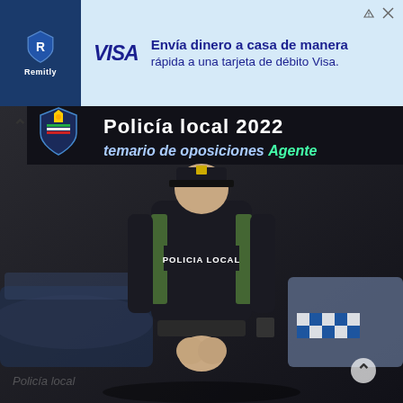[Figure (screenshot): Web page screenshot showing a Remitly/Visa advertisement banner at top with text 'Envía dinero a casa de manera rápida a una tarjeta de débito Visa.' Below is a book cover image for 'Policía Local 2022 temario de oposiciones Agente' featuring a police officer viewed from behind wearing a 'POLICIA LOCAL' vest, standing in front of police cars.]